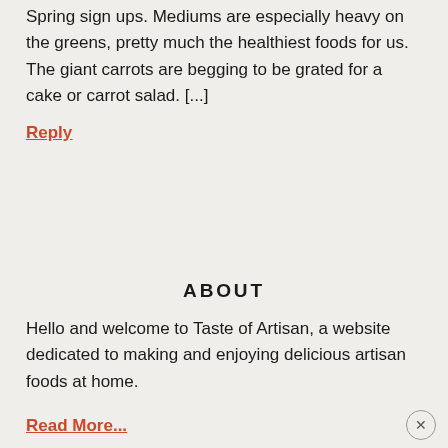for your support. Website is ready to go for Spring sign ups. Mediums are especially heavy on the greens, pretty much the healthiest foods for us. The giant carrots are begging to be grated for a cake or carrot salad. [...]
Reply
ABOUT
Hello and welcome to Taste of Artisan, a website dedicated to making and enjoying delicious artisan foods at home.
Read More...